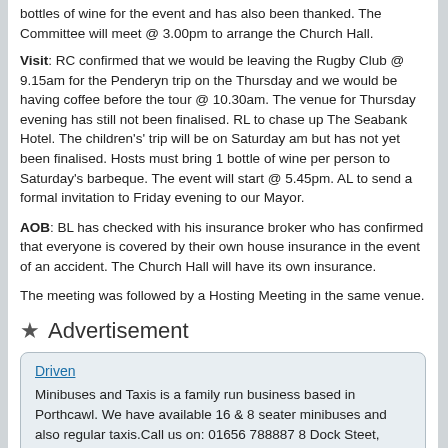bottles of wine for the event and has also been thanked. The Committee will meet @ 3.00pm to arrange the Church Hall.
Visit: RC confirmed that we would be leaving the Rugby Club @ 9.15am for the Penderyn trip on the Thursday and we would be having coffee before the tour @ 10.30am. The venue for Thursday evening has still not been finalised. RL to chase up The Seabank Hotel. The children's' trip will be on Saturday am but has not yet been finalised. Hosts must bring 1 bottle of wine per person to Saturday's barbeque. The event will start @ 5.45pm. AL to send a formal invitation to Friday evening to our Mayor.
AOB: BL has checked with his insurance broker who has confirmed that everyone is covered by their own house insurance in the event of an accident. The Church Hall will have its own insurance.
The meeting was followed by a Hosting Meeting in the same venue.
Advertisement
Driven
Minibuses and Taxis is a family run business based in Porthcawl. We have available 16 & 8 seater minibuses and also regular taxis.Call us on: 01656 788887 8 Dock Steet, Porthcawl. CF36 3BL